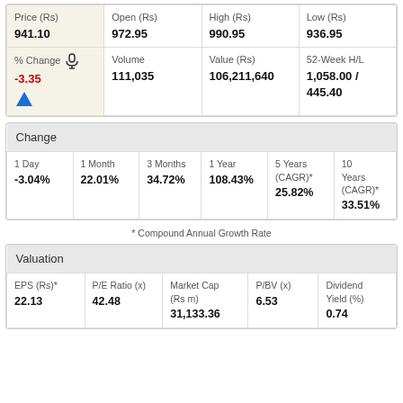| Price (Rs) | Open (Rs) | High (Rs) | Low (Rs) |
| --- | --- | --- | --- |
| 941.10 | 972.95 | 990.95 | 936.95 |
| % Change -3.35 | Volume 111,035 | Value (Rs) 106,211,640 | 52-Week H/L 1,058.00 / 445.40 |
| Change |
| --- |
| 1 Day
-3.04% | 1 Month
22.01% | 3 Months
34.72% | 1 Year
108.43% | 5 Years (CAGR)*
25.82% | 10 Years (CAGR)*
33.51% |
* Compound Annual Growth Rate
| Valuation |
| --- |
| EPS (Rs)*
22.13 | P/E Ratio (x)
42.48 | Market Cap (Rs m)
31,133.36 | P/BV (x)
6.53 | Dividend Yield (%)
0.74 |